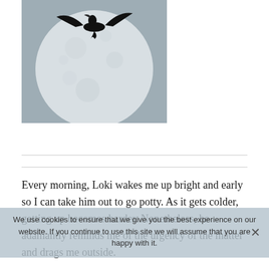[Figure (photo): A bird (appears to be a cormorant or similar seabird) flying in front of a large full moon against a grey sky background]
Every morning, Loki wakes me up bright and early so I can take him out to go potty. As it gets colder, getting up becomes harder. Nonetheless, he adamantly reminds me of the urgency of the matter and drags me outside.

A couple weeks ago, it was quite chilly. I stood there with him, my arms crossed, chanting my morning mantra, "Go potty, go potty." Then, I heard the honking of geese
We use cookies to ensure that we give you the best experience on our website. If you continue to use this site we will assume that you are happy with it.